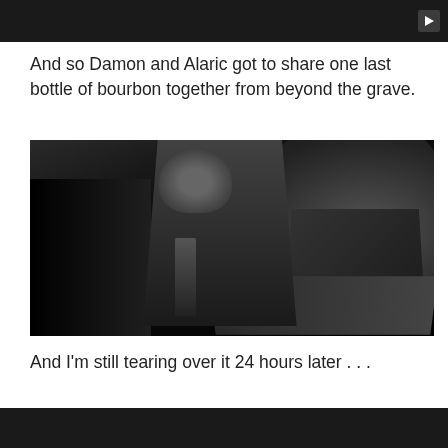[Figure (screenshot): Dark video player bar at top with play button in upper right corner]
And so Damon and Alaric got to share one last bottle of bourbon together from beyond the grave.
[Figure (photo): Black and white photo of a man in a dark turtleneck sweater standing in a bar, holding a bottle, with other patrons visible in the background near a large arched window]
And I'm still tearing over it 24 hours later . . .
[Figure (screenshot): Dark strip at bottom of page, partial view of another image/video]